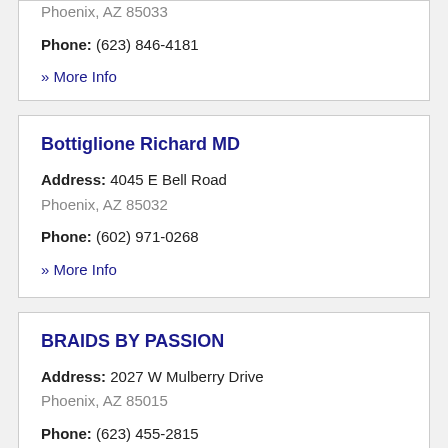Phoenix, AZ 85033
Phone: (623) 846-4181
» More Info
Bottiglione Richard MD
Address: 4045 E Bell Road
Phoenix, AZ 85032
Phone: (602) 971-0268
» More Info
BRAIDS BY PASSION
Address: 2027 W Mulberry Drive
Phoenix, AZ 85015
Phone: (623) 455-2815